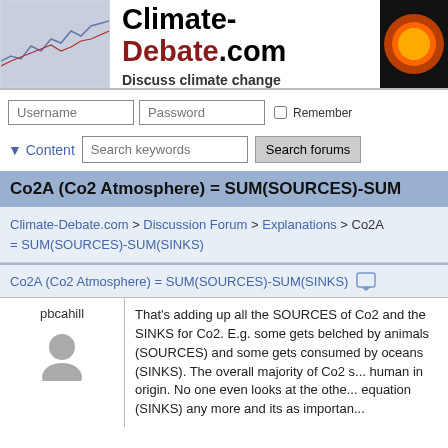Climate-Debate.com — Discuss climate change
Co2A (Co2 Atmosphere) = SUM(SOURCES)-SUM(SINKS)
Climate-Debate.com > Discussion Forum > Explanations > Co2A = SUM(SOURCES)-SUM(SINKS)
Co2A (Co2 Atmosphere) = SUM(SOURCES)-SUM(SINKS)
pbcahill
That's adding up all the SOURCES of Co2 and the SINKS for Co2. E.g. some gets belched by animals (SOURCES) and some gets consumed by oceans (SINKS). The overall majority of Co2 s... human in origin. No one even looks at the othe... equation (SINKS) any more and its as importan...